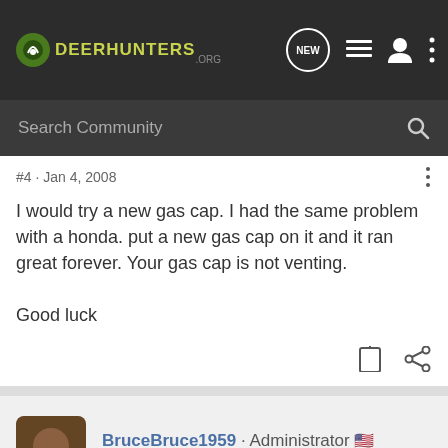DeerHunters.org — navigation bar with logo, NEW chat bubble, list icon, user icon, more icon
Search Community
#4 · Jan 4, 2008
I would try a new gas cap. I had the same problem with a honda. put a new gas cap on it and it ran great forever. Your gas cap is not venting.

Good luck
BruceBruce1959 · Administrator
Joined Jan 13, 2007 · 5,712 Posts